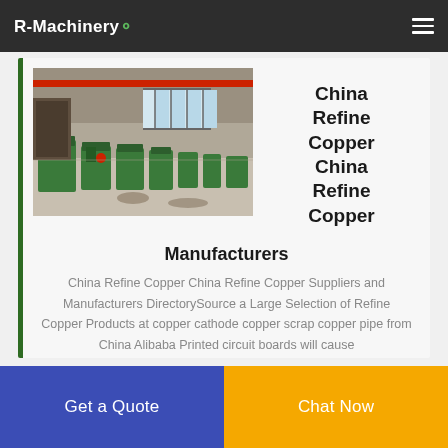R-Machinery
[Figure (photo): Industrial factory floor with rows of green machinery, overhead red crane rail, large windows letting in light, metal fabrication equipment.]
China Refine Copper China Refine Copper
Manufacturers
China Refine Copper China Refine Copper Suppliers and Manufacturers DirectorySource a Large Selection of Refine Copper Products at copper cathode copper scrap copper pipe from China Alibaba Printed circuit boards will cause
Get a Quote
Chat Now